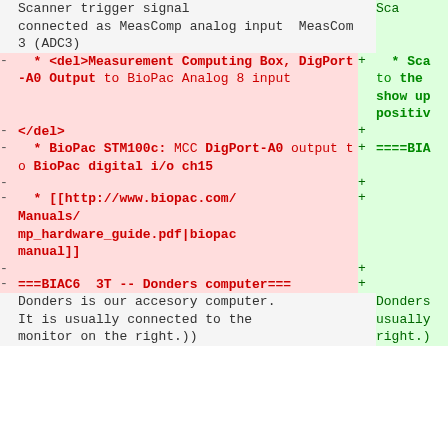| marker | left-content | marker2 | right-content |
| --- | --- | --- | --- |
|  | Scanner trigger signal |  | Sca |
|  | connected as MeasComp analog input  MeasCom |  |  |
|  | 3 (ADC3) |  |  |
| - |   * <del>Measurement Computing Box, DigPort-A0 Output to BioPac Analog 8 input | + |   * Sca to the show up positiv |
| - | </del> | + |  |
| - |   * BioPac STM100c: MCC DigPort-A0 output to BioPac digital i/o ch15 | + | ====BIA |
| - |  | + |  |
| - |   * [[http://www.biopac.com/Manuals/mp_hardware_guide.pdf|biopac manual]] | + |  |
| - |  | + |  |
| - | ===BIAC6  3T -- Donders computer=== | + |  |
|  | Donders is our accesory computer. It is usually connected to the monitor on the right.)) |  | Donders usually right.) |